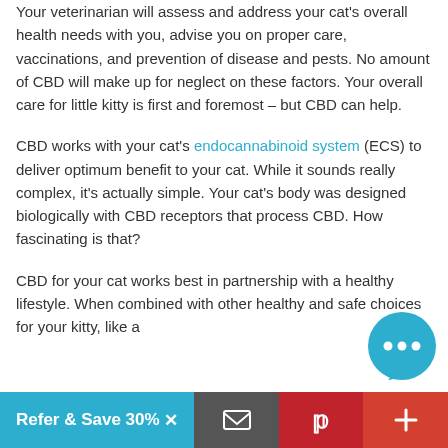Your veterinarian will assess and address your cat's overall health needs with you, advise you on proper care, vaccinations, and prevention of disease and pests. No amount of CBD will make up for neglect on these factors. Your overall care for little kitty is first and foremost – but CBD can help.
CBD works with your cat's endocannabinoid system (ECS) to deliver optimum benefit to your cat. While it sounds really complex, it's actually simple. Your cat's body was designed biologically with CBD receptors that process CBD. How fascinating is that?
CBD for your cat works best in partnership with a healthy lifestyle. When combined with other healthy and safe choices for your kitty, like a
Refer & Save 30% ×